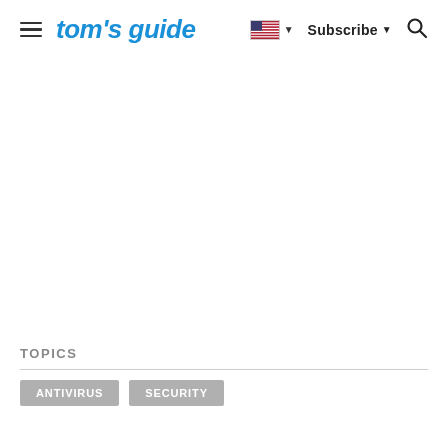tom's guide — Subscribe — Search
TOPICS
ANTIVIRUS
SECURITY